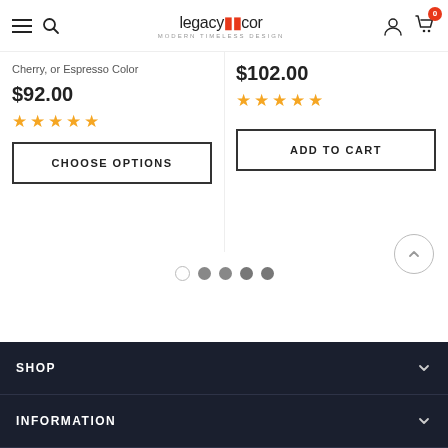legacydecor MODERN TIMELESS DESIGN
Cherry, or Espresso Color
$92.00
[Figure (other): 5 gold star rating for left product]
CHOOSE OPTIONS
$102.00
[Figure (other): 5 gold star rating for right product]
ADD TO CART
[Figure (other): Carousel navigation dots: 1 empty, 4 filled]
SHOP
INFORMATION